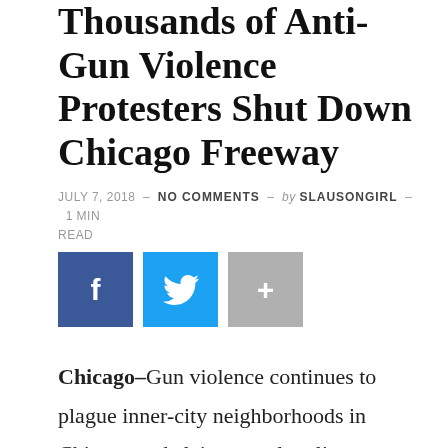Thousands of Anti-Gun Violence Protesters Shut Down Chicago Freeway
JULY 7, 2018 – NO COMMENTS – by SLAUSONGIRL – 1 MIN READ
[Figure (other): Social share buttons: Facebook (blue), Twitter (light blue), More/Plus (gray)]
Chicago–Gun violence continues to plague inner-city neighborhoods in Chicago and claim countless lives. Today, thousands of anti-violence protesters marched on a Chicago interstate, hoping to pressure elected officials into doing more to address the violence.